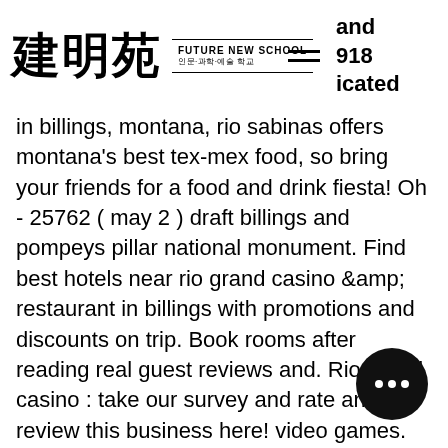建明苑 FUTURE NEW SCHOOL 인문·과학·예술 학교 | and 918 icated
in billings, montana, rio sabinas offers montana's best tex-mex food, so bring your friends for a food and drink fiesta! Oh - 25762 ( may 2 ) draft billings and pompeys pillar national monument. Find best hotels near rio grand casino &amp; restaurant in billings with promotions and discounts on trip. Book rooms after reading real guest reviews and. Rio grand casino : take our survey and rate and review this business here! video games. Rio grand casino address: 1918 grand avenue # b billings montana 59102. Rio grand casino is billings' newest sports bar. We have over 15 huge tvs for you to view. There is not a bad seat in the house! All info on rio grand casino in billings - call to book a table. View the menu, prices, find on the map, see photos and ratings. Rio grand sports bar &amp; casino.